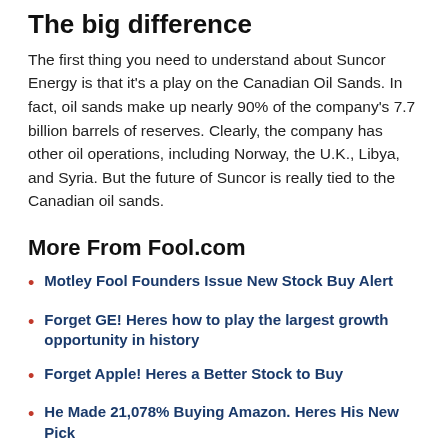The big difference
The first thing you need to understand about Suncor Energy is that it's a play on the Canadian Oil Sands. In fact, oil sands make up nearly 90% of the company's 7.7 billion barrels of reserves. Clearly, the company has other oil operations, including Norway, the U.K., Libya, and Syria. But the future of Suncor is really tied to the Canadian oil sands.
More From Fool.com
Motley Fool Founders Issue New Stock Buy Alert
Forget GE! Heres how to play the largest growth opportunity in history
Forget Apple! Heres a Better Stock to Buy
He Made 21,078% Buying Amazon. Heres His New Pick
Phillips 66, meanwhile, doesn't drill for oil. It's business is